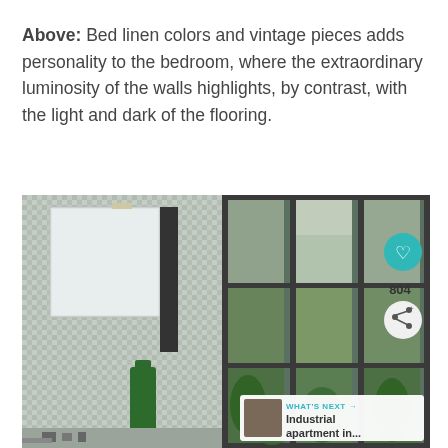Above: Bed linen colors and vintage pieces adds personality to the bedroom, where the extraordinary luminosity of the walls highlights, by contrast, with the light and dark of the flooring.
[Figure (photo): Left panel shows a bathroom with mosaic tile walls, a mirror, and a green bottle. Right panel shows an industrial-style window with metal grid frames and tropical plants visible through the glass. UI overlays include a teal heart button, share button with count 804, and a 'What's Next' card showing 'Industrial apartment in...'.]